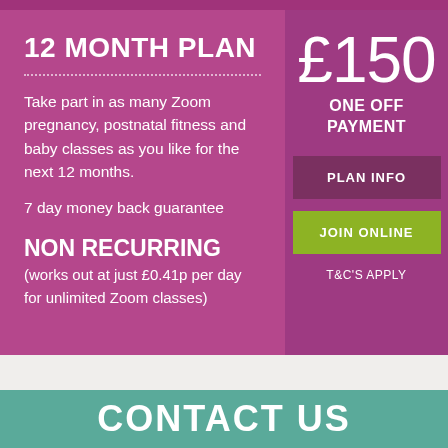12 MONTH PLAN
Take part in as many Zoom pregnancy, postnatal fitness and baby classes as you like for the next 12 months.
7 day money back guarantee
NON RECURRING
(works out at just £0.41p per day for unlimited Zoom classes)
£150
ONE OFF PAYMENT
PLAN INFO
JOIN ONLINE
T&C'S APPLY
CONTACT US